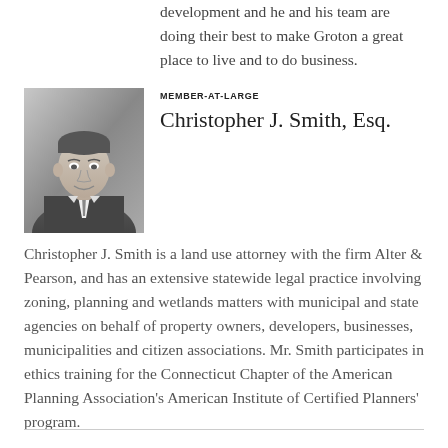development and he and his team are doing their best to make Groton a great place to live and to do business.
[Figure (photo): Black and white headshot photo of Christopher J. Smith, a man in a suit and tie, smiling, with an office background.]
MEMBER-AT-LARGE
Christopher J. Smith, Esq.
Christopher J. Smith is a land use attorney with the firm Alter & Pearson, and has an extensive statewide legal practice involving zoning, planning and wetlands matters with municipal and state agencies on behalf of property owners, developers, businesses, municipalities and citizen associations. Mr. Smith participates in ethics training for the Connecticut Chapter of the American Planning Association's American Institute of Certified Planners' program.